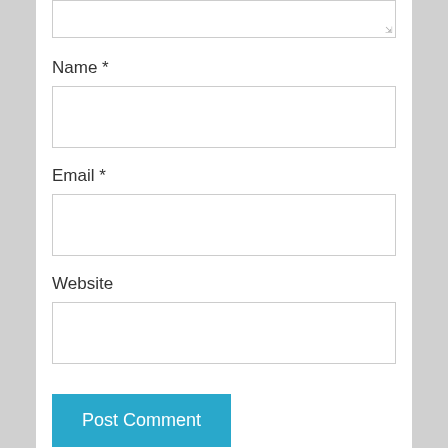[Figure (screenshot): Top portion of a comment form showing a textarea with resize handle at top of page]
Name *
[Figure (screenshot): Empty text input field for Name]
Email *
[Figure (screenshot): Empty text input field for Email]
Website
[Figure (screenshot): Empty text input field for Website]
[Figure (screenshot): Post Comment button in teal/blue color]
Notify me of new comments via email